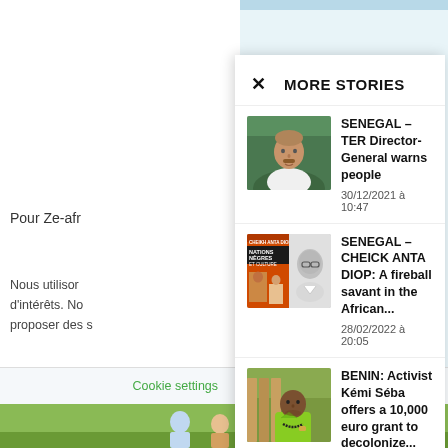MORE STORIES
SENEGAL – TER Director-General warns people
30/12/2021 à 10:47
SENEGAL – CHEICK ANTA DIOP: A fireball savant in the African...
28/02/2022 à 20:05
BENIN: Activist Kémi Séba offers a 10,000 euro grant to decolonize...
17/06/2020 à 10:24
Pour Ze-afr
Nous utilisor d'intérêts. No proposer des s
Cliquez sur "A d'une expérie modi
Pour en savoir p consultez notre
Cookie settings
Accepter